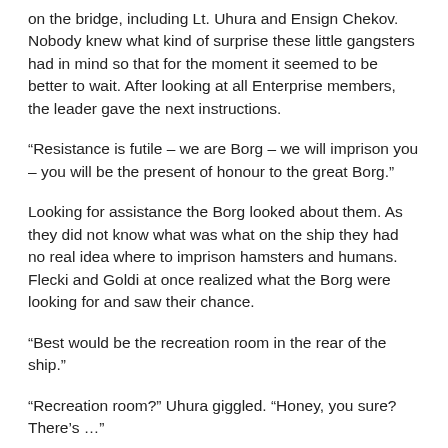on the bridge, including Lt. Uhura and Ensign Chekov. Nobody knew what kind of surprise these little gangsters had in mind so that for the moment it seemed to be better to wait. After looking at all Enterprise members, the leader gave the next instructions.
“Resistance is futile – we are Borg – we will imprison you – you will be the present of honour to the great Borg.”
Looking for assistance the Borg looked about them. As they did not know what was what on the ship they had no real idea where to imprison hamsters and humans. Flecki and Goldi at once realized what the Borg were looking for and saw their chance.
“Best would be the recreation room in the rear of the ship.”
“Recreation room?” Uhura giggled. “Honey, you sure? There’s …”
“We know that it isn’t clean there because the polishing machine is defect”, Flecki hastily interrupted and wildling winked at her. “But it’s the only vacant room on the ship!”
Lt. Uhura had to grin. Not bad, the ideas of these little hamsters. If only they were in Engineering and the Borg had no idea about this, they perhaps could do something.
“Polishing machine is irrelevant – resistance is futile – you now …”